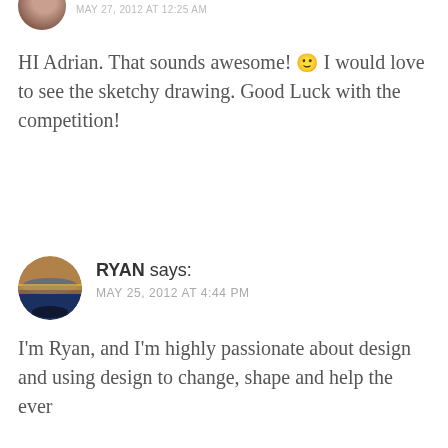[Figure (photo): Partial circular avatar photo of a person at top of page]
HI Adrian. That sounds awesome! 🙂 I would love to see the sketchy drawing. Good Luck with the competition!
REPLY ↩
[Figure (infographic): WooCommerce advertisement banner: purple background with WooCommerce logo, teal triangle, orange and cyan circular shapes, text 'Turn your hobby into a business in 8 steps']
Advertisements
REPORT THIS AD
[Figure (photo): Circular avatar photo of Ryan showing a sunset over water]
RYAN says:
MAY 25, 2012 AT 4:44 PM
I'm Ryan, and I'm highly passionate about design and using design to change, shape and help the ever changing world we are moving towards. I feel that